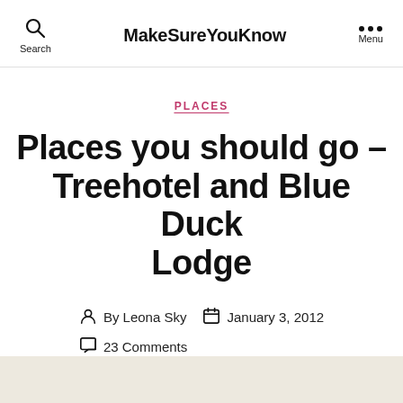MakeSureYouKnow
PLACES
Places you should go – Treehotel and Blue Duck Lodge
By Leona Sky  January 3, 2012  23 Comments